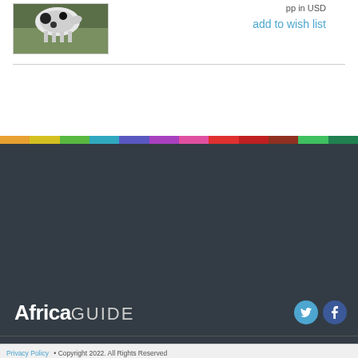[Figure (photo): Small photo of a black and white animal (cow or similar) in grass]
pp in USD
add to wish list
[Figure (infographic): Colorful horizontal bar with multiple color segments]
AfricaGUIDE
[Figure (logo): Twitter bird icon circle]
[Figure (logo): Facebook f icon circle]
Sections
African Holidays
About Us
Mobile Friendly
Privacy Policy • Copyright 2022. All Rights Reserved